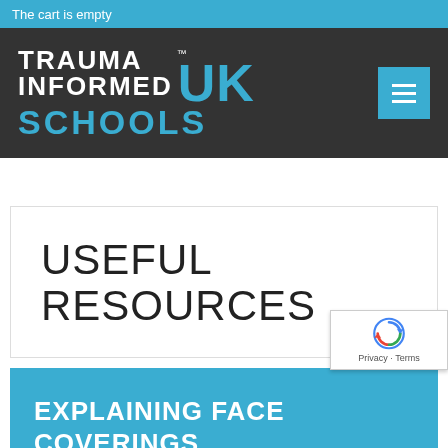The cart is empty
[Figure (logo): Trauma Informed UK Schools logo with blue and white text on dark background, and blue hamburger menu button]
USEFUL RESOURCES
[Figure (other): reCAPTCHA badge with Privacy and Terms links]
EXPLAINING FACE COVERINGS TO YOUNG CHILDREN-